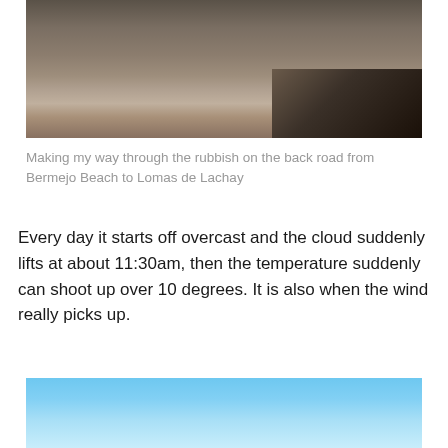[Figure (photo): Person pushing a bicycle on a rocky dirt back road with debris on the sides]
Making my way through the rubbish on the back road from Bermejo Beach to Lomas de Lachay
Every day it starts off overcast and the cloud suddenly lifts at about 11:30am, then the temperature suddenly can shoot up over 10 degrees. It is also when the wind really picks up.
[Figure (photo): Blue sky photo, partially visible at bottom of page]